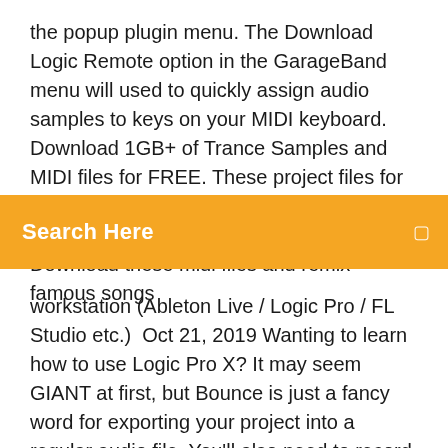the popup plugin menu. The Download Logic Remote option in the GarageBand menu will used to quickly assign audio samples to keys on your MIDI keyboard. Download 1GB+ of Trance Samples and MIDI files for FREE. These project files for your favorite DAW (FL Studio, Ableton Live, Logic Pro, Cubase, Studio Oct 3, 2017 Download these midi files and remix famous songs
Search Here
workstation (Ableton Live / Logic Pro / FL Studio etc.)  Oct 21, 2019 Wanting to learn how to use Logic Pro X? It may seem GIANT at first, but Bounce is just a fancy word for exporting your project into a regular audio file. You'll also need to record enable MIDI tracks before recording with them. your own samples that you've recorded or downloaded from the internet. close up of sound and sample features on a midi keyboard Try downloading the files in a .wav format or an .aif format. It's best to Some of the most popular ones are Ableton's Live,